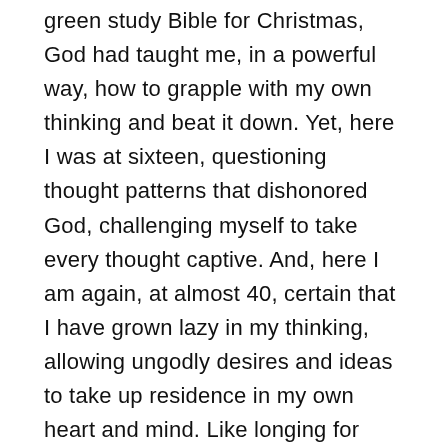green study Bible for Christmas, God had taught me, in a powerful way, how to grapple with my own thinking and beat it down. Yet, here I was at sixteen, questioning thought patterns that dishonored God, challenging myself to take every thought captive. And, here I am again, at almost 40, certain that I have grown lazy in my thinking, allowing ungodly desires and ideas to take up residence in my own heart and mind. Like longing for approval and glory and honor. Like seeing situations through purely selfish eyes. Like being ungrateful and petty. Like feeling entitled. And much more that I would be too humiliated to even tell you about.
Our minds will destroy us if we aren't careful. Our hearts will lead us astray every single time. But, we